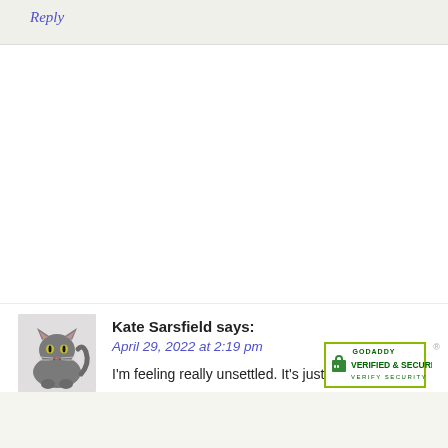Reply
Kate Sarsfield says:
April 29, 2022 at 2:19 pm
[Figure (photo): Avatar of a grey cat lying down]
I'm feeling really unsettled. It's just that I'm
[Figure (logo): GoDaddy Verified & Secured badge]